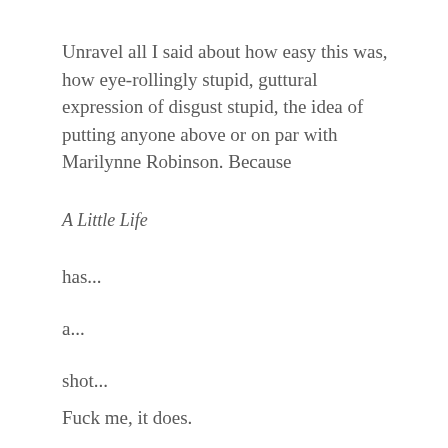Unravel all I said about how easy this was, how eye-rollingly stupid, guttural expression of disgust stupid, the idea of putting anyone above or on par with Marilynne Robinson. Because
A Little Life
has...
a...
shot...
Fuck me, it does.